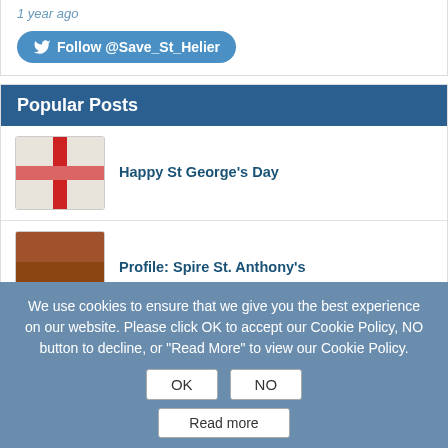1 year ago
[Figure (other): Twitter Follow button: Follow @Save_St_Helier]
Popular Posts
Happy St George's Day
[Figure (photo): Thumbnail of St George's flag]
Profile: Spire St. Anthony's
[Figure (photo): Thumbnail of Spire St. Anthony's building]
KOSHH Calls For The Resignation of Epsom & St Helier…
[Figure (photo): Thumbnail with RESIGN sign]
Profile: Alan Milburn – Former health secretary, now…
[Figure (photo): Thumbnail of a person]
We use cookies to ensure that we give you the best experience on our website. Please click OK to accept our Cookie Policy, NO button to decline, or "Read More" to view our Cookie Policy.